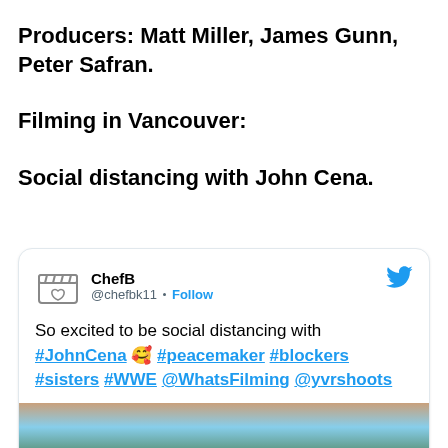Producers: Matt Miller, James Gunn, Peter Safran.
Filming in Vancouver:
Social distancing with John Cena.
[Figure (screenshot): Tweet by ChefB (@chefbk11) with text: So excited to be social distancing with #JohnCena 🥰 #peacemaker #blockers #sisters #WWE @WhatsFilming @yvrshoots. Includes a photo preview of trees and sky.]